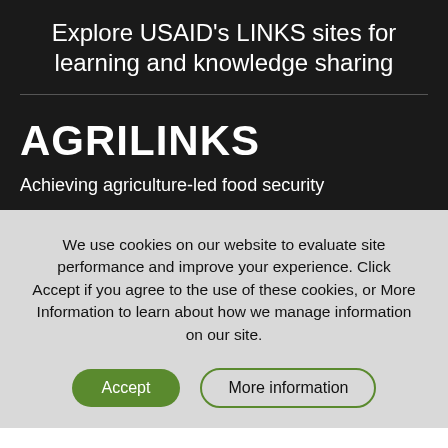Explore USAID's LINKS sites for learning and knowledge sharing
AGRILINKS
Achieving agriculture-led food security
We use cookies on our website to evaluate site performance and improve your experience. Click Accept if you agree to the use of these cookies, or More Information to learn about how we manage information on our site.